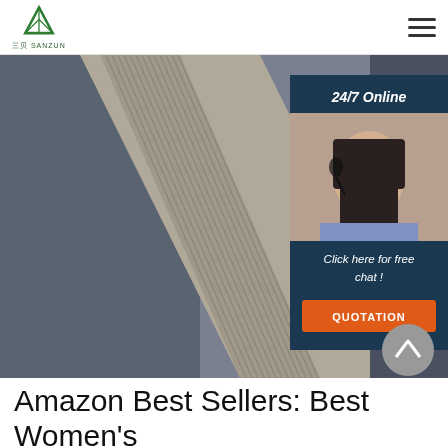SANZUN logo and navigation
[Figure (photo): Close-up photo of a wooden comb with fine teeth on a gray textile/fabric background, with a customer service chat overlay showing '24/7 Online', a woman with headset, 'Click here for free chat!' text, and an orange QUOTATION button]
Amazon Best Sellers: Best Women's Flip Flops